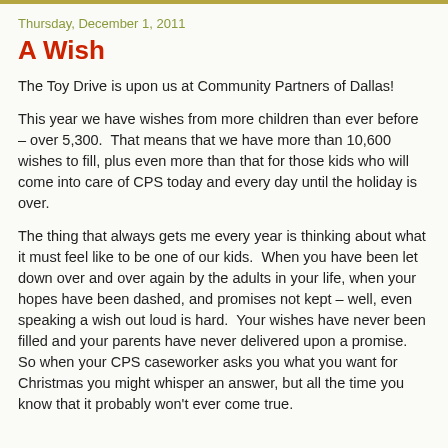Thursday, December 1, 2011
A Wish
The Toy Drive is upon us at Community Partners of Dallas!
This year we have wishes from more children than ever before – over 5,300.  That means that we have more than 10,600 wishes to fill, plus even more than that for those kids who will come into care of CPS today and every day until the holiday is over.
The thing that always gets me every year is thinking about what it must feel like to be one of our kids.  When you have been let down over and over again by the adults in your life, when your hopes have been dashed, and promises not kept – well, even speaking a wish out loud is hard.  Your wishes have never been filled and your parents have never delivered upon a promise.  So when your CPS caseworker asks you what you want for Christmas you might whisper an answer, but all the time you know that it probably won't ever come true.